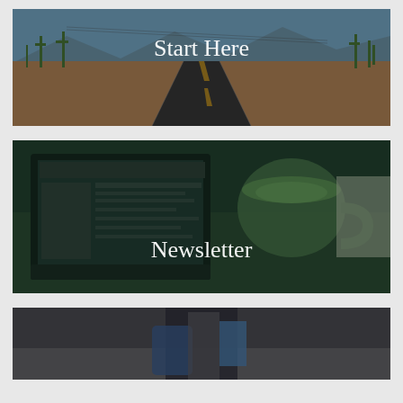[Figure (photo): A straight road through a desert landscape with cacti and mountains in the background under a blue sky, with 'Start Here' text overlay in white serif font]
[Figure (photo): A laptop computer screen showing a website/blog interface alongside a green ceramic mug with coffee/latte, with 'Newsletter' text overlay in white serif font]
[Figure (photo): A partially visible image showing what appears to be a person with travel gear or luggage, partially cut off at the bottom of the page]